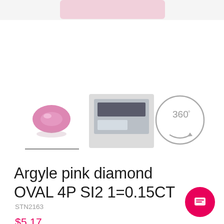[Figure (photo): Top portion of a product image viewer, partially visible pink/lavender gradient background with product image cropped at top]
[Figure (photo): Three thumbnail/view options: (1) pink oval Argyle diamond gemstone thumbnail with underline indicator, (2) certificate/packaging photo thumbnail, (3) 360-degree rotation icon with circular arrow]
Argyle pink diamond OVAL 4P SI2 1=0.15CT
STN2163
$5,17...